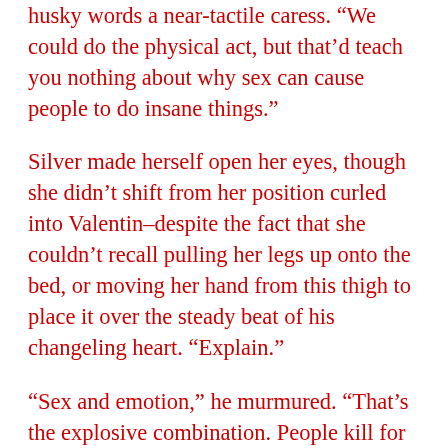husky words a near-tactile caress. “We could do the physical act, but that’d teach you nothing about why sex can cause people to do insane things.”
Silver made herself open her eyes, though she didn’t shift from her position curled into Valentin–despite the fact that she couldn’t recall pulling her legs up onto the bed, or moving her hand from this thigh to place it over the steady beat of his changeling heart. “Explain.”
“Sex and emotion,” he murmured. “That’s the explosive combination. People kill for love, die for love. But even if it doesn’t get that far, affection is a prerequisite to intimate skin privileges in my book. Kisses have to be on the menu, along with a million other small acts that build bonds no one can break.”